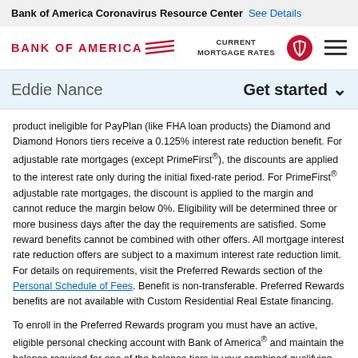Bank of America Coronavirus Resource Center  See Details
[Figure (logo): Bank of America logo with flag icon, CURRENT MORTGAGE RATES text, red circle icon, and hamburger menu icon]
Eddie Nance
Get started
product ineligible for PayPlan (like FHA loan products) the Diamond and Diamond Honors tiers receive a 0.125% interest rate reduction benefit. For adjustable rate mortgages (except PrimeFirst®), the discounts are applied to the interest rate only during the initial fixed-rate period. For PrimeFirst® adjustable rate mortgages, the discount is applied to the margin and cannot reduce the margin below 0%. Eligibility will be determined three or more business days after the day the requirements are satisfied. Some reward benefits cannot be combined with other offers. All mortgage interest rate reduction offers are subject to a maximum interest rate reduction limit. For details on requirements, visit the Preferred Rewards section of the Personal Schedule of Fees. Benefit is non-transferable. Preferred Rewards benefits are not available with Custom Residential Real Estate financing.
To enroll in the Preferred Rewards program you must have an active, eligible personal checking account with Bank of America® and maintain the balance required for one of the balance tiers in your combined qualifying Bank of America deposit accounts (such as checking, savings, certificate of deposit) and/or your Merrill investment accounts (such as Cash Management